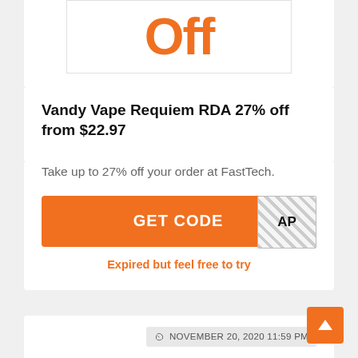[Figure (other): Orange 'OFF' text banner partially visible at top]
Vandy Vape Requiem RDA 27% off from $22.97
Take up to 27% off your order at FastTech.
GET CODE  AP
Expired but feel free to try
NOVEMBER 20, 2020 11:59 PM
[Figure (other): Orange 'ONLY' text banner partially visible at bottom]